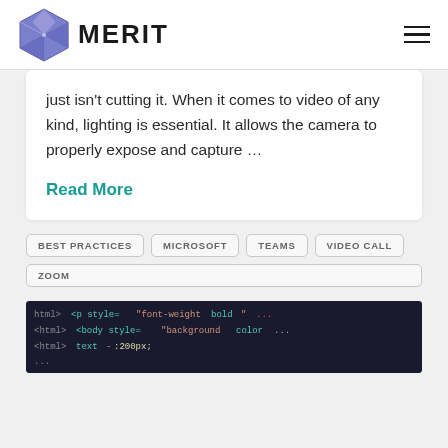MERIT
just isn't cutting it. When it comes to video of any kind, lighting is essential. It allows the camera to properly expose and capture …
Read More
BEST PRACTICES
MICROSOFT
TEAMS
VIDEO CALL
ZOOM
[Figure (screenshot): Screenshot of HTML/code editor showing colored syntax highlighting with html tags and CSS properties on a dark background.]